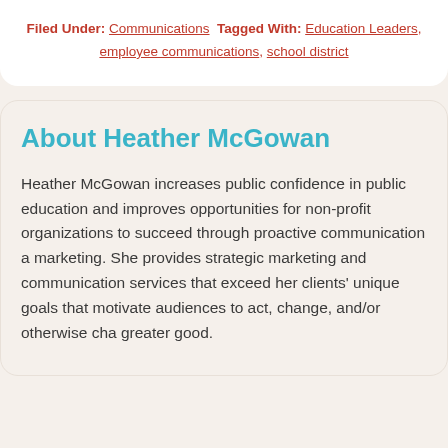Filed Under: Communications Tagged With: Education Leaders, employee communications, school district
About Heather McGowan
Heather McGowan increases public confidence in public education and improves opportunities for non-profit organizations to succeed through proactive communication and marketing. She provides strategic marketing and communication services that exceed her clients' unique goals that motivate audiences to act, change, and/or otherwise cha... greater good.